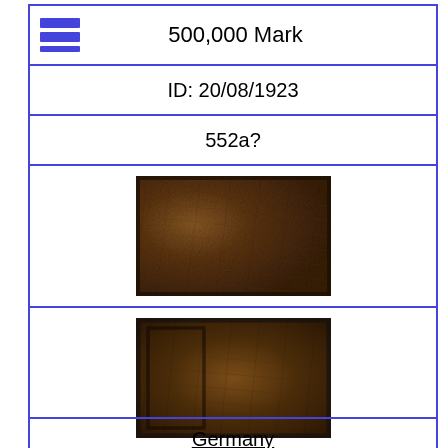500,000 Mark
ID: 20/08/1923
552a?
[Figure (photo): Front face of a German 500,000 Mark banknote from 1923, showing aged brown surface with fibrous texture.]
[Figure (photo): Back face of a German 500,000 Mark banknote from 1923, showing aged brown surface with a dark border and fibrous texture.]
Show Full Details
Germany